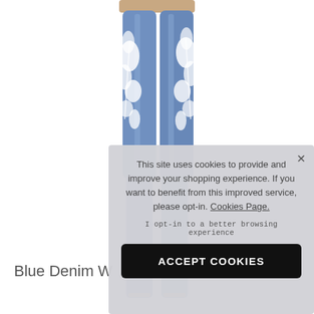[Figure (photo): A woman wearing blue denim jeans with white floral embroidery/print on the legs, shot from the waist down against a white background. She is also wearing strappy sandals.]
Blue Denim W
This site uses cookies to provide and improve your shopping experience. If you want to benefit from this improved service, please opt-in. Cookies Page.
I opt-in to a better browsing experience
ACCEPT COOKIES